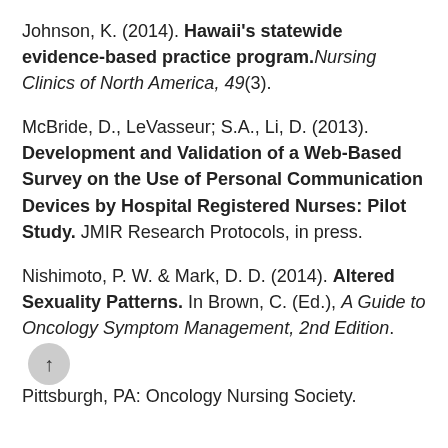Johnson, K. (2014). Hawaii's statewide evidence-based practice program. Nursing Clinics of North America, 49(3).
McBride, D., LeVasseur; S.A., Li, D. (2013). Development and Validation of a Web-Based Survey on the Use of Personal Communication Devices by Hospital Registered Nurses: Pilot Study. JMIR Research Protocols, in press.
Nishimoto, P. W. & Mark, D. D. (2014). Altered Sexuality Patterns. In Brown, C. (Ed.), A Guide to Oncology Symptom Management, 2nd Edition. Pittsburgh, PA: Oncology Nursing Society.